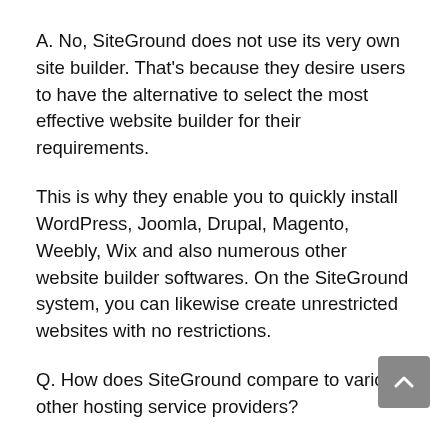A. No, SiteGround does not use its very own site builder. That’s because they desire users to have the alternative to select the most effective website builder for their requirements.
This is why they enable you to quickly install WordPress, Joomla, Drupal, Magento, Weebly, Wix and also numerous other website builder softwares. On the SiteGround system, you can likewise create unrestricted websites with no restrictions.
Q. How does SiteGround compare to various other hosting service providers?
A. This is the common inquiry asked by